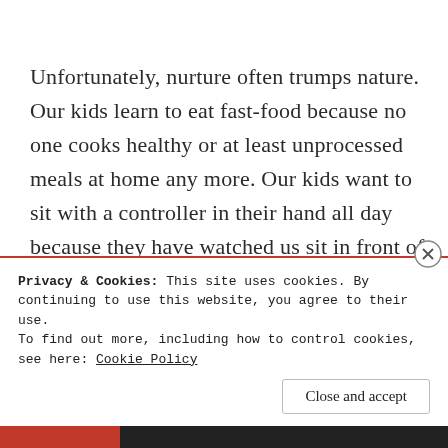Unfortunately, nurture often trumps nature. Our kids learn to eat fast-food because no one cooks healthy or at least unprocessed meals at home any more. Our kids want to sit with a controller in their hand all day because they have watched us sit in front of a computer/cell phone screen all day.
Privacy & Cookies: This site uses cookies. By continuing to use this website, you agree to their use.
To find out more, including how to control cookies, see here: Cookie Policy
Close and accept